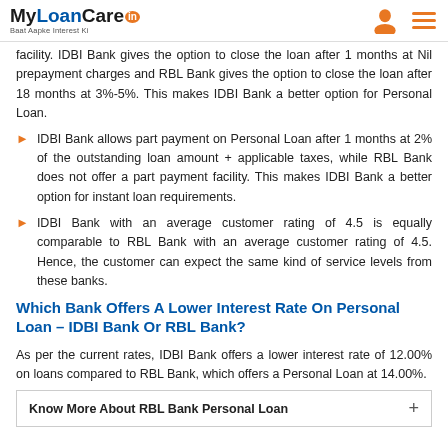MyLoanCare.in – Baat Aapke Interest Ki
facility. IDBI Bank gives the option to close the loan after 1 months at Nil prepayment charges and RBL Bank gives the option to close the loan after 18 months at 3%-5%. This makes IDBI Bank a better option for Personal Loan.
IDBI Bank allows part payment on Personal Loan after 1 months at 2% of the outstanding loan amount + applicable taxes, while RBL Bank does not offer a part payment facility. This makes IDBI Bank a better option for instant loan requirements.
IDBI Bank with an average customer rating of 4.5 is equally comparable to RBL Bank with an average customer rating of 4.5. Hence, the customer can expect the same kind of service levels from these banks.
Which Bank Offers A Lower Interest Rate On Personal Loan – IDBI Bank Or RBL Bank?
As per the current rates, IDBI Bank offers a lower interest rate of 12.00% on loans compared to RBL Bank, which offers a Personal Loan at 14.00%.
Know More About RBL Bank Personal Loan